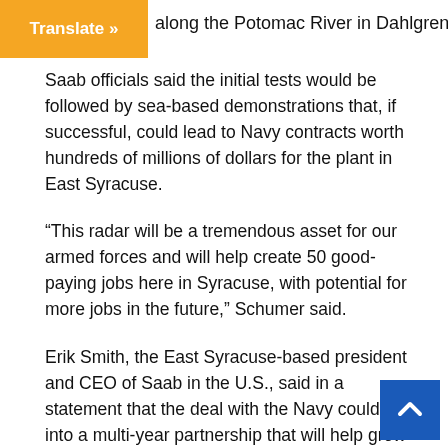Translate » along the Potomac River in Dahlgren, Va.
Saab officials said the initial tests would be followed by sea-based demonstrations that, if successful, could lead to Navy contracts worth hundreds of millions of dollars for the plant in East Syracuse.
“This radar will be a tremendous asset for our armed forces and will help create 50 good-paying jobs here in Syracuse, with potential for more jobs in the future,” Schumer said.
Erik Smith, the East Syracuse-based president and CEO of Saab in the U.S., said in a statement that the deal with the Navy could turn into a multi-year partnership that will help grow the company in Central New York.
Saab, Inc., part of the Swedish defense and aerospace firm, employs about 700 people in the United States, including about 500 at its North American headquarters in East Syracuse.